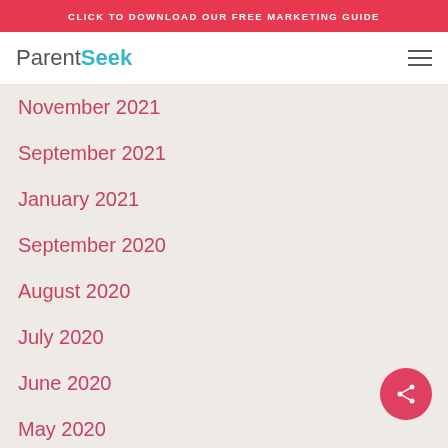CLICK TO DOWNLOAD OUR FREE MARKETING GUIDE
[Figure (logo): ParentSeek logo with Parent in grey and Seek in teal, with hamburger menu icon on the right]
November 2021
September 2021
January 2021
September 2020
August 2020
July 2020
June 2020
May 2020
April 2020
March 2020
February 2020